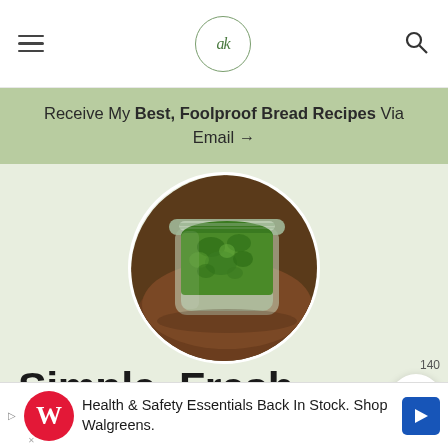ak (logo) — navigation bar with hamburger menu and search icon
Receive My Best, Foolproof Bread Recipes Via Email →
[Figure (photo): Top-down view of a glass mason jar filled with fresh bright green homemade pesto sauce, on a wooden surface, circular cropped photo]
Simple, Fresh Homemade Pesto Sauce with Pasta
140 (heart/like count)
Health & Safety Essentials Back In Stock. Shop Walgreens. (advertisement)